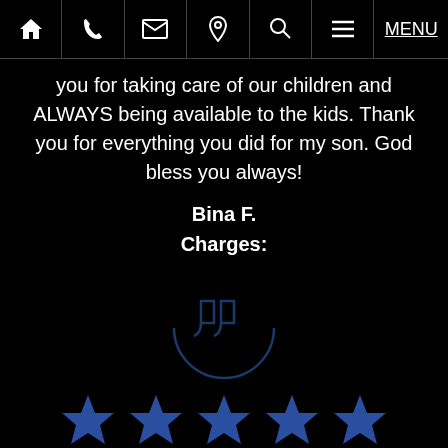Home | Phone | Email | Location | Search | Menu
you for taking care of our children and ALWAYS being available to the kids. Thank you for everything you did for my son. God bless you always!
Bina F.
Charges:
[Figure (illustration): Quotation mark icon inside a circular arc, dark blue outline on black background]
[Figure (illustration): Five dark blue stars rating]
OMG... You are the best human being Bob! You have this natural caring about others that makes me believe in angels. Thank you for what you did